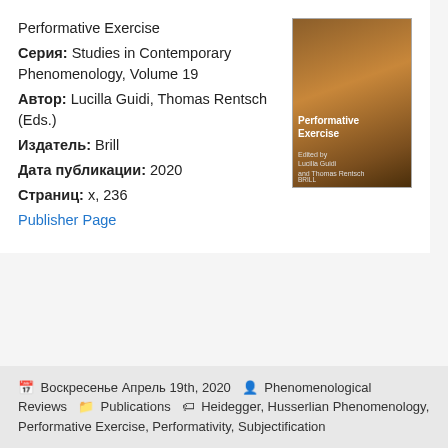Performative Exercise
Серия: Studies in Contemporary Phenomenology, Volume 19
Автор: Lucilla Guidi, Thomas Rentsch (Eds.)
Издатель: Brill
Дата публикации: 2020
Страниц: x, 236
Publisher Page
[Figure (illustration): Book cover of Performative Exercise edited by Lucilla Guidi and Thomas Rentsch, published by Brill. Brown/orange textured cover.]
Воскресенье Апрель 19th, 2020  Phenomenological Reviews  Publications  Heidegger, Husserlian Phenomenology, Performative Exercise, Performativity, Subjectification